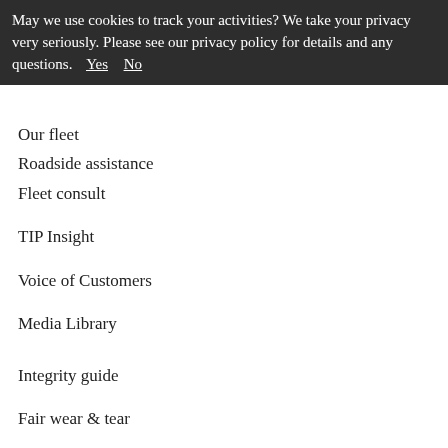Maintenance
May we use cookies to track your activities? We take your privacy very seriously. Please see our privacy policy for details and any questions. Yes   No
Our fleet
Roadside assistance
Fleet consult
TIP Insight
Voice of Customers
Media Library
Integrity guide
Fair wear & tear
Privacy Policy
Corporate Social Responsibility
Careers
About TIP
History
Senior leadership team